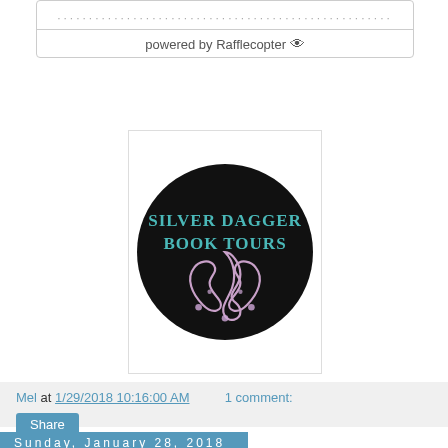[Figure (screenshot): Rafflecopter widget box with dotted line input and 'powered by Rafflecopter' footer]
[Figure (logo): Silver Dagger Book Tours circular logo — black circle with teal text 'SILVER DAGGER BOOK TOURS' and pink decorative flourish]
Mel at 1/29/2018 10:16:00 AM    1 comment:
Share
Sunday, January 28, 2018